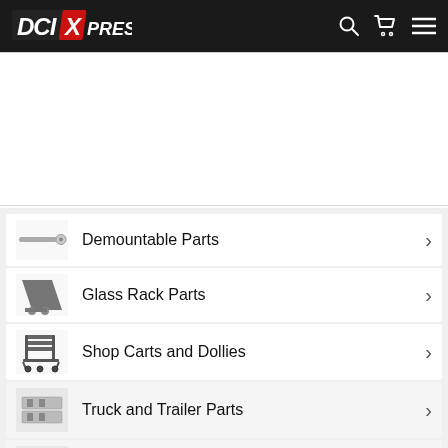DCI Xpress — navigation header with search, cart, and menu icons
Demountable Parts
Glass Rack Parts
Shop Carts and Dollies
Truck and Trailer Parts
Cargo Van Accessories